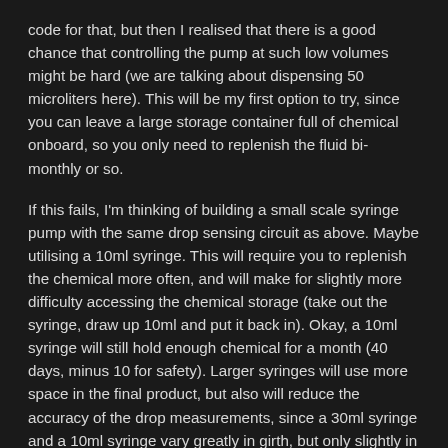code for that, but then I realised that there is a good chance that controlling the pump at such low volumes might be hard (we are talking about dispensing 50 microliters here). This will be my first option to try, since you can leave a large storage container full of chemical onboard, so you only need to replenish the fluid bi-monthly or so.
If this fails, I'm thinking of building a small scale syringe pump with the same drop sensing circuit as above. Maybe utilising a 10ml syringe. This will require you to replenish the chemical more often, and will make for slightly more difficulty accessing the chemical storage (take out the syringe, draw up 10ml and put it back in). Okay, a 10ml syringe will still hold enough chemical for a month (40 days, minus 10 for safety). Larger syringes will use more space in the final product, but also will reduce the accuracy of the drop measurements, since a 30ml syringe and a 10ml syringe vary greatly in girth, but only slightly in length. Thus the same linear movement translate to a large